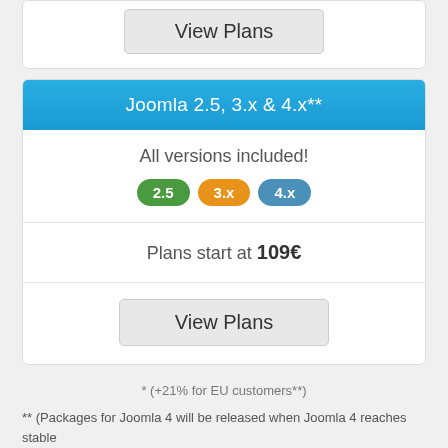View Plans
Joomla 2.5, 3.x & 4.x**
All versions included!
2.5  3.x  4.x
Plans start at 109€
View Plans
* (+21% for EU customers**)
** (Packages for Joomla 4 will be released when Joomla 4 reaches stable